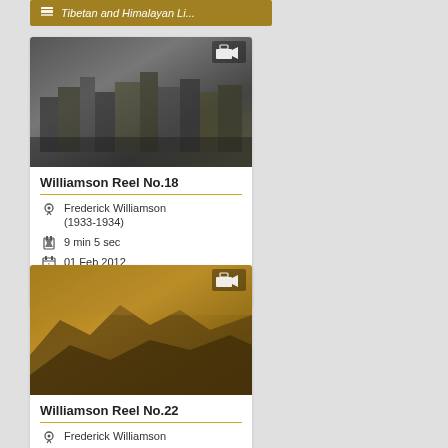Tibetan and Himalayan Li...
[Figure (screenshot): Thumbnail of Williamson Reel No.18 video showing dark monochrome image of Tibetan buildings]
Williamson Reel No.18
Frederick Williamson (1933-1934)
9 min 5 sec
01 Feb 2012
Tibetan and Himalayan Li...
[Figure (screenshot): Thumbnail of Williamson Reel No.22 video showing golden-toned landscape image]
Williamson Reel No.22
Frederick Williamson